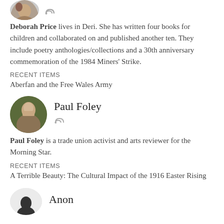[Figure (photo): Partial circular avatar photo of Deborah Price, cropped at top of page]
Deborah Price lives in Deri. She has written four books for children and collaborated on and published another ten. They include poetry anthologies/collections and a 30th anniversary commemoration of the 1984 Miners' Strike.
RECENT ITEMS
Aberfan and the Free Wales Army
[Figure (photo): Circular avatar photo of Paul Foley]
Paul Foley
Paul Foley is a trade union activist and arts reviewer for the Morning Star.
RECENT ITEMS
A Terrible Beauty: The Cultural Impact of the 1916 Easter Rising
[Figure (photo): Partial circular avatar silhouette of Anon]
Anon